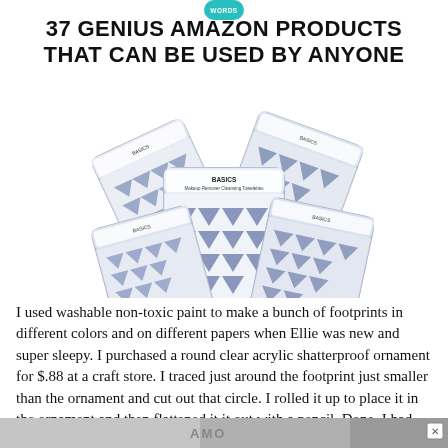[Figure (logo): Small teal/turquoise rounded badge logo at top center with white text reading 'WORDS']
37 GENIUS AMAZON PRODUCTS THAT CAN BE USED BY ANYONE
[Figure (photo): Stack of makeup remover cleansing towelette packets with blue and white geometric chevron pattern design, multiple packets fanned out]
I used washable non-toxic paint to make a bunch of footprints in different colors and on different papers when Ellie was new and super sleepy.  I purchased a round clear acrylic shatterproof ornament for $.88 at a craft store.  I traced just around the footprint just smaller than the ornament and cut out that circle.  I rolled it up to place it in the ornament and then flattened it it out with a pencil.  Done.  I had my friend Betsy write Eleanor's name and the year on the front, and then her birthday on the back with a paint pen, because her handwriting is super cute.
[Figure (other): Advertisement banner at bottom of page, gray gradient with X close button]